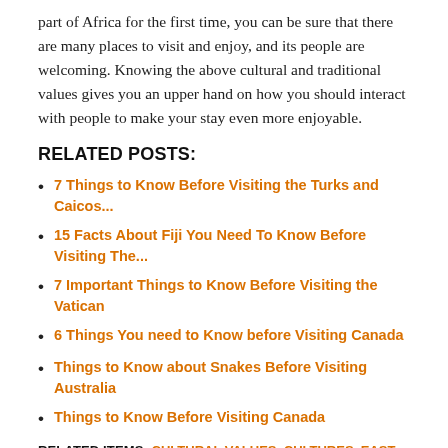part of Africa for the first time, you can be sure that there are many places to visit and enjoy, and its people are welcoming. Knowing the above cultural and traditional values gives you an upper hand on how you should interact with people to make your stay even more enjoyable.
RELATED POSTS:
7 Things to Know Before Visiting the Turks and Caicos...
15 Facts About Fiji You Need To Know Before Visiting The...
7 Important Things to Know Before Visiting the Vatican
6 Things You need to Know before Visiting Canada
Things to Know about Snakes Before Visiting Australia
Things to Know Before Visiting Canada
RELATED ITEMS: CULTURAL VALUES, CULTURES, EAST AFRICA, PEOPLE, TRADITIONS, VISITING